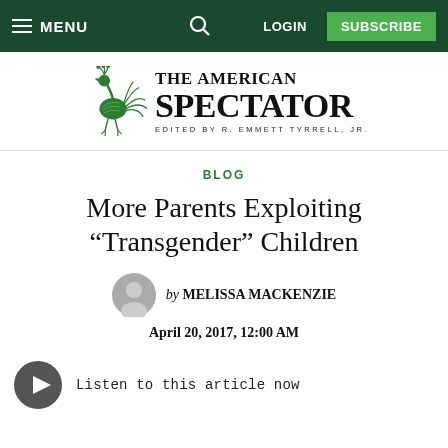MENU | LOGIN | SUBSCRIBE
[Figure (logo): The American Spectator logo with green bird illustration and text 'THE AMERICAN SPECTATOR EDITED BY R. EMMETT TYRRELL, JR.']
BLOG
More Parents Exploiting “Transgender” Children
by MELISSA MACKENZIE
April 20, 2017, 12:00 AM
Listen to this article now